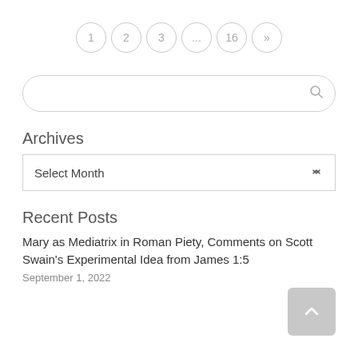1 2 3 ... 16 »
[Figure (other): Search bar with magnifying glass icon]
Archives
[Figure (other): Select Month dropdown]
Recent Posts
Mary as Mediatrix in Roman Piety, Comments on Scott Swain's Experimental Idea from James 1:5
September 1, 2022